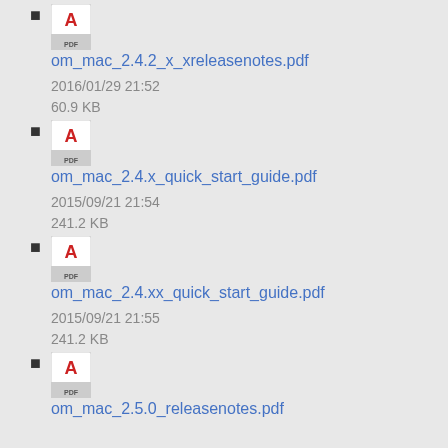om_mac_2.4.2_x_xreleasenotes.pdf
2016/01/29 21:52
60.9 KB
om_mac_2.4.x_quick_start_guide.pdf
2015/09/21 21:54
241.2 KB
om_mac_2.4.xx_quick_start_guide.pdf
2015/09/21 21:55
241.2 KB
om_mac_2.5.0_releasenotes.pdf